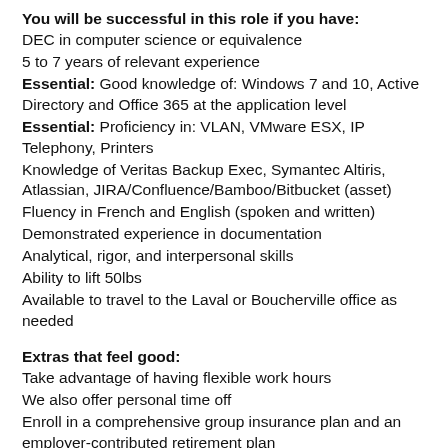You will be successful in this role if you have:
DEC in computer science or equivalence
5 to 7 years of relevant experience
Essential: Good knowledge of: Windows 7 and 10, Active Directory and Office 365 at the application level
Essential: Proficiency in: VLAN, VMware ESX, IP Telephony, Printers
Knowledge of Veritas Backup Exec, Symantec Altiris, Atlassian, JIRA/Confluence/Bamboo/Bitbucket (asset)
Fluency in French and English (spoken and written)
Demonstrated experience in documentation
Analytical, rigor, and interpersonal skills
Ability to lift 50lbs
Available to travel to the Laval or Boucherville office as needed
Extras that feel good:
Take advantage of having flexible work hours
We also offer personal time off
Enroll in a comprehensive group insurance plan and an employer-contributed retirement plan
We reimburse annual membership fees to recognized professional bodies